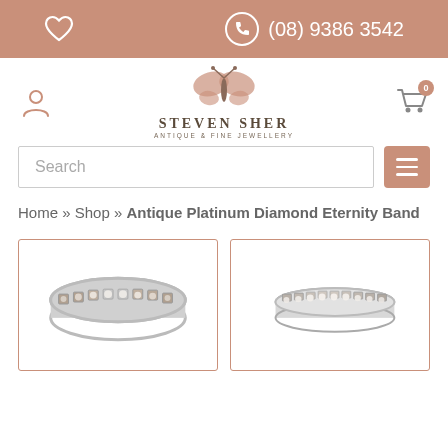(08) 9386 3542
[Figure (logo): Steven Sher Antique & Fine Jewellery butterfly logo with brand name]
Search
Home » Shop » Antique Platinum Diamond Eternity Band
[Figure (photo): Antique platinum diamond eternity band ring - first product card]
[Figure (photo): Antique platinum diamond eternity band ring - second product card]